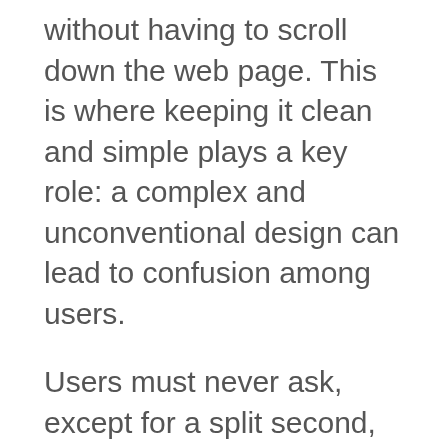without having to scroll down the web page. This is where keeping it clean and simple plays a key role: a complex and unconventional design can lead to confusion among users.
Users must never ask, except for a split second, “Where is the navigation on the site? For sites arranged in a hierarchical, multi-level way , make sure that it is simple to switch through parent and child web pages.
In addition, it should be easy to access top-level pages (such as the front page of the